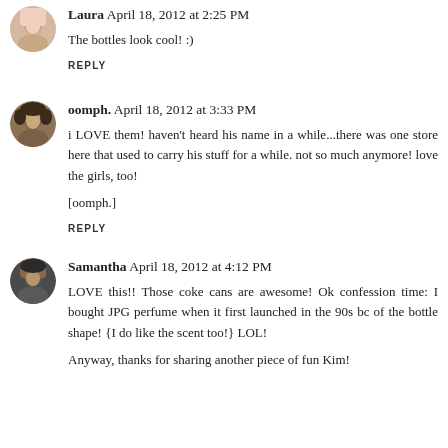[Figure (photo): Small circular avatar photo of Laura]
Laura  April 18, 2012 at 2:25 PM
The bottles look cool! :)
REPLY
[Figure (photo): Small circular avatar photo of oomph.]
oomph.  April 18, 2012 at 3:33 PM
i LOVE them! haven't heard his name in a while...there was one store here that used to carry his stuff for a while. not so much anymore! love the girls, too!
[oomph.]
REPLY
[Figure (photo): Small circular avatar photo of Samantha]
Samantha  April 18, 2012 at 4:12 PM
LOVE this!! Those coke cans are awesome! Ok confession time: I bought JPG perfume when it first launched in the 90s bc of the bottle shape! {I do like the scent too!} LOL!
Anyway, thanks for sharing another piece of fun Kim!